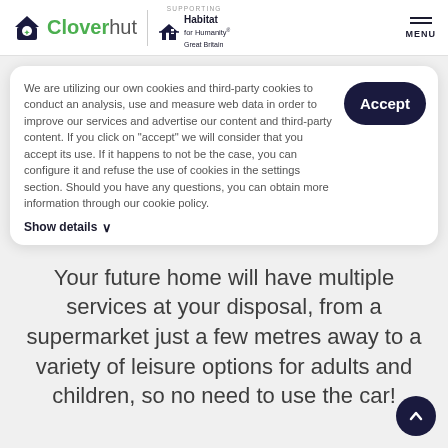[Figure (logo): Cloverhut logo with house icon and green/dark text, supporting Habitat for Humanity Great Britain logo, and MENU button]
We are utilizing our own cookies and third-party cookies to conduct an analysis, use and measure web data in order to improve our services and advertise our content and third-party content. If you click on "accept" we will consider that you accept its use. If it happens to not be the case, you can configure it and refuse the use of cookies in the settings section. Should you have any questions, you can obtain more information through our cookie policy.
Show details ∨
Your future home will have multiple services at your disposal, from a supermarket just a few metres away to a variety of leisure options for adults and children, so no need to use the car!